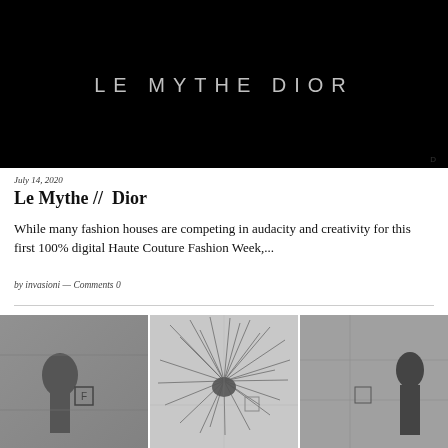[Figure (photo): Black background hero image with 'LE MYTHE DIOR' text in light gray uppercase letters]
July 14, 2020
Le Mythe // Dior
While many fashion houses are competing in audacity and creativity for this first 100% digital Haute Couture Fashion Week,...
by invasioni — Comments 0
[Figure (photo): Black and white photo, left panel showing a person near a wall with a letter F sign]
[Figure (photo): Black and white photo, center panel showing an explosion or burst of feathers/material from a central point]
[Figure (photo): Black and white photo, right panel partially visible showing a person and a wall]